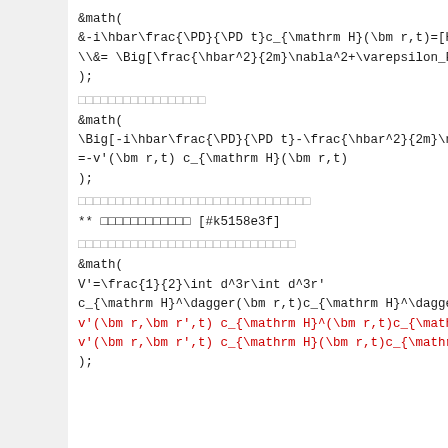&math(
&-i\hbar\frac{\PD}{\PD t}c_{\mathrm H}(\bm r,t)=[H,c
\\&= \Big[\frac{\hbar^2}{2m}\nabla^2+\varepsilon_F-v
);
□□□□□□□□□□□□□□□□□
&math(
\Big[-i\hbar\frac{\PD}{\PD t}-\frac{\hbar^2}{2m}\nab
=-v'(\bm r,t) c_{\mathrm H}(\bm r,t)
);
□□□□□□□□□□□□□□□□□□□□□□□□□□□□□□□
** □□□□□□□□□□□□ [#k5158e3f]
□□□□□□□□□□□□□□□□□□□□□□□□□□□□□
&math(
V'=\frac{1}{2}\int d^3r\int d^3r'
c_{\mathrm H}^\dagger(\bm r,t)c_{\mathrm H}^\dagger(
v'(\bm r,\bm r',t) c_{\mathrm H}^(\bm r,t)c_{\mathrm H}^(
v'(\bm r,\bm r',t) c_{\mathrm H}(\bm r,t)c_{\mathrm H}(\bm
);